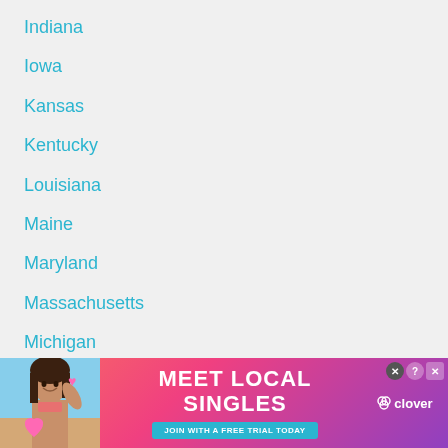Indiana
Iowa
Kansas
Kentucky
Louisiana
Maine
Maryland
Massachusetts
Michigan
Minnesota
Mississippi
Missouri
[Figure (illustration): Advertisement banner: 'MEET LOCAL SINGLES - JOIN WITH A FREE TRIAL TODAY' with a photo of a woman, pink/purple gradient background, and Clover app logo]